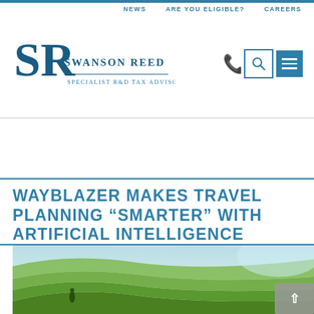NEWS | ARE YOU ELIGIBLE? | CAREERS
[Figure (logo): Swanson Reed – Specialist R&D Tax Advisors logo with SR monogram]
WAYBLAZER MAKES TRAVEL PLANNING “SMARTER” WITH ARTIFICIAL INTELLIGENCE
[Figure (photo): Terraced rice field landscape with person walking, aerial/elevated view, lush green scenery]